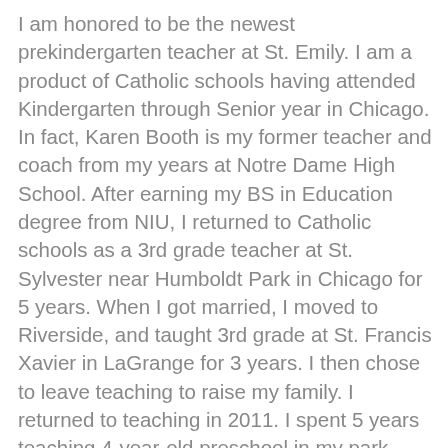I am honored to be the newest prekindergarten teacher at St. Emily.  I am a product of Catholic schools having attended Kindergarten through Senior year in Chicago.  In fact, Karen Booth is my former teacher and coach from my years at Notre Dame High School.  After earning my BS in Education degree from NIU, I returned to Catholic schools as a 3rd grade teacher at St. Sylvester near Humboldt Park in Chicago for 5 years.  When I got married, I moved to Riverside, and taught 3rd grade at St. Francis Xavier in LaGrange for 3 years. I then chose to leave teaching to raise my family.  I returned to teaching in 2011.  I spent 5 years teaching 4-year-old preschool in my park district's preschool program.  I then returned to Catholic schools and taught preschool at Holy Trinity in Westmont for 4 years and then Visitation in Elmhurst last year, both with the Archdiocese of Joliet.  I returned to the Archdiocese of Chicago this year and found St. Emily.  Everyone has been so welcoming here.   I am excited for this opportunity and to help our youngest